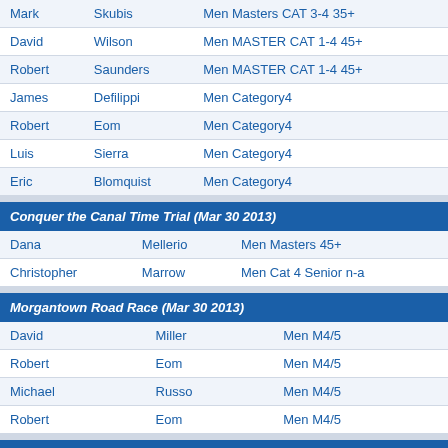| First | Last | Category |
| --- | --- | --- |
| Mark | Skubis | Men Masters CAT 3-4 35+ |
| David | Wilson | Men MASTER CAT 1-4 45+ |
| Robert | Saunders | Men MASTER CAT 1-4 45+ |
| James | Defilippi | Men Category4 |
| Robert | Eom | Men Category4 |
| Luis | Sierra | Men Category4 |
| Eric | Blomquist | Men Category4 |
Conquer the Canal Time Trial (Mar 30 2013)
| First | Last | Category |
| --- | --- | --- |
| Dana | Mellerio | Men Masters 45+ |
| Christopher | Marrow | Men Cat 4 Senior n-a |
Morgantown Road Race (Mar 30 2013)
| First | Last | Category |
| --- | --- | --- |
| David | Miller | Men M4/5 |
| Robert | Eom | Men M4/5 |
| Michael | Russo | Men M4/5 |
| Robert | Eom | Men M4/5 |
Black Hills Circuit Race (Mar 24 2013)